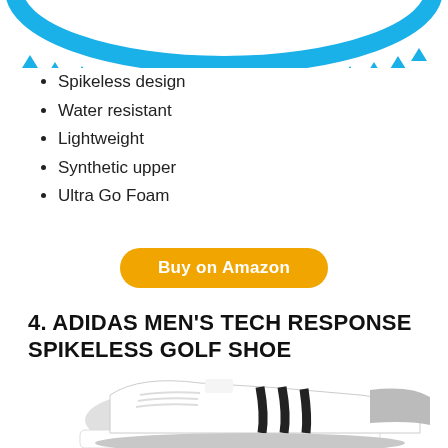[Figure (photo): Bottom/sole view of a golf shoe with blue spiky outsole, cropped at top of page]
Spikeless design
Water resistant
Lightweight
Synthetic upper
Ultra Go Foam
Buy on Amazon
4. ADIDAS MEN'S TECH RESPONSE SPIKELESS GOLF SHOE
[Figure (photo): Adidas Men's Tech Response Spikeless Golf Shoe — white and grey sneaker with black stripes, partial view cropped at bottom]